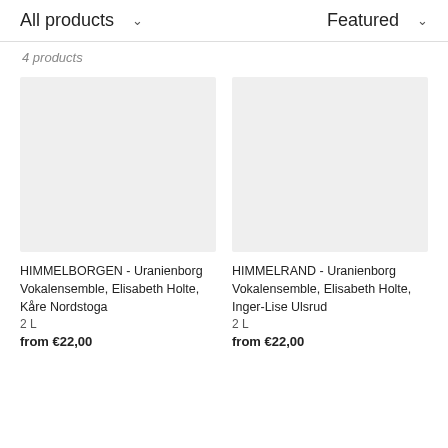All products ∨   Featured ∨
4 products
[Figure (other): Product image placeholder for HIMMELBORGEN (gray rectangle)]
HIMMELBORGEN - Uranienborg Vokalensemble, Elisabeth Holte, Kåre Nordstoga
2 L
from €22,00
[Figure (other): Product image placeholder for HIMMELRAND (gray rectangle)]
HIMMELRAND - Uranienborg Vokalensemble, Elisabeth Holte, Inger-Lise Ulsrud
2 L
from €22,00